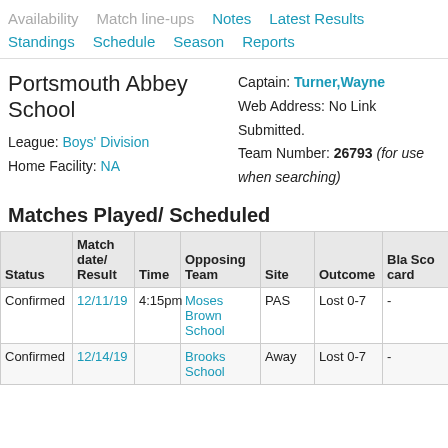Availability  Match line-ups  Notes  Latest Results  Standings  Schedule  Season  Reports
Portsmouth Abbey School
Captain: Turner,Wayne
Web Address: No Link Submitted.
Team Number: 26793 (for use when searching)
League: Boys' Division
Home Facility: NA
Matches Played/ Scheduled
| Status | Match date/ Result | Time | Opposing Team | Site | Outcome | Bla... Sco... car... |
| --- | --- | --- | --- | --- | --- | --- |
| Confirmed | 12/11/19 | 4:15pm | Moses Brown School | PAS | Lost 0-7 | - |
| Confirmed | 12/14/19 |  | Brooks School | Away | Lost 0-7 | - |